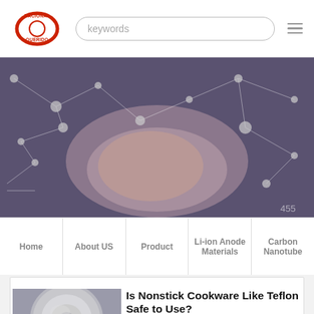NACIONALQUERIDO — header with logo, search bar, hamburger menu
[Figure (photo): Hero banner image showing hands clasped together over a dark purple/grey background with network node graphics overlay]
Home | About US | Product | Li-ion Anode Materials | Carbon Nanotube
[Figure (photo): Thumbnail image of a metallic disc/cookware piece, silver-grey color]
Is Nonstick Cookware Like Teflon Safe to Use?
Nonstick cookware, such as frypans and saucepans, has been coated with a material called polytetrafluoroethylene (PTFE), commonly known as Teflon. Teflon is...